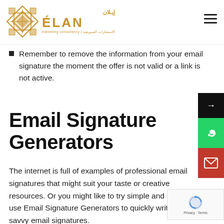[Figure (logo): Elan Marketing Consultancy logo with geometric diamond pattern in gold and Arabic text, company name ÉLAN in gold letters, subtitle 'marketing consultancy | الاستشارات التسويقية']
Remember to remove the information from your email signature the moment the offer is not valid or a link is not active.
Email Signature Generators
The internet is full of examples of professional email signatures that might suit your taste or creative resources. Or you might like to try simple and easy-to-use Email Signature Generators to quickly write smart & savvy email signatures.